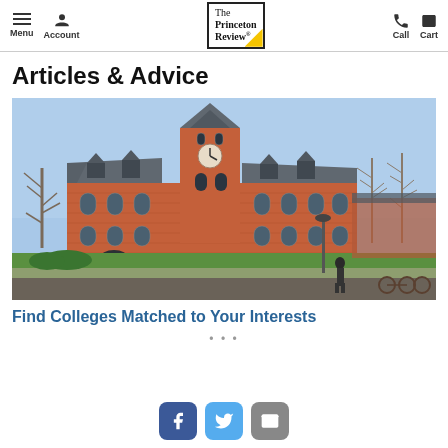Menu | Account | The Princeton Review | Call | Cart
Articles & Advice
[Figure (photo): Red brick university building with clock tower, green lawns, trees, and a person walking near bicycles. Blue sky background.]
Find Colleges Matched to Your Interests